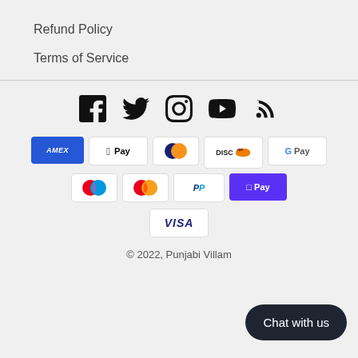Refund Policy
Terms of Service
[Figure (infographic): Social media icons: Facebook, Twitter, Instagram, YouTube, RSS feed]
[Figure (infographic): Payment method icons: American Express, Apple Pay, Diners Club, Discover, Google Pay, Maestro, Mastercard, PayPal, Shop Pay, Visa]
© 2022, Punjabi Villam